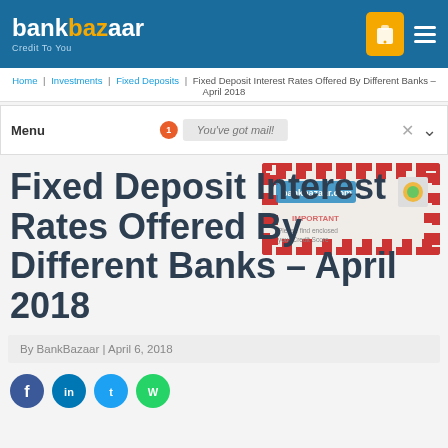bankbazaar Credit To You
Home | Investments | Fixed Deposits | Fixed Deposit Interest Rates Offered By Different Banks – April 2018
Menu  You've got mail!
[Figure (illustration): A letter envelope illustration with BankBazaar branding and a credit score gauge stamp]
Fixed Deposit Interest Rates Offered By Different Banks – April 2018
By BankBazaar | April 6, 2018
[Figure (infographic): Social media share icons: Facebook, LinkedIn, Twitter, WhatsApp]